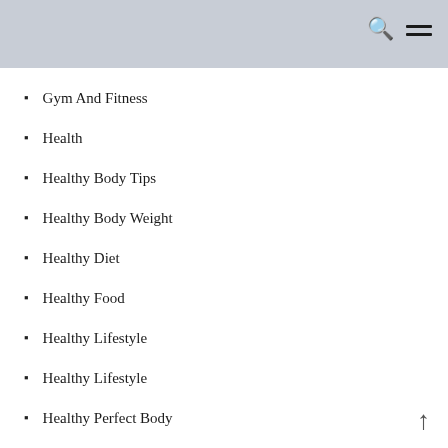Gym And Fitness
Health
Healthy Body Tips
Healthy Body Weight
Healthy Diet
Healthy Food
Healthy Lifestyle
Healthy Lifestyle
Healthy Perfect Body
Mind And Body Fitness
Nutrition
Nutrition Facts
Physical Fit…